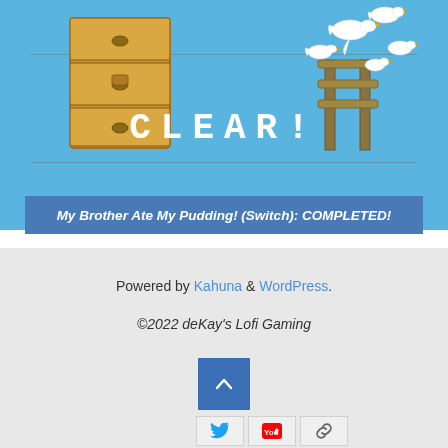[Figure (screenshot): Game completion screen showing 'CLEAR!' text in white pixel-style font on a light blue background, with drawer/furniture illustration on the left and white birds/geese flying on the right. Horizontal lines above and below the text area.]
My Brother Ate My Pudding! (Switch): COMPLETED!
Powered by Kahuna & WordPress.
©2022 deKay's Lofi Gaming
[Figure (other): Blue scroll-to-top button with upward chevron arrow]
[Figure (other): Social media icon buttons: Twitter bird icon, YouTube icon, and link/chain icon]